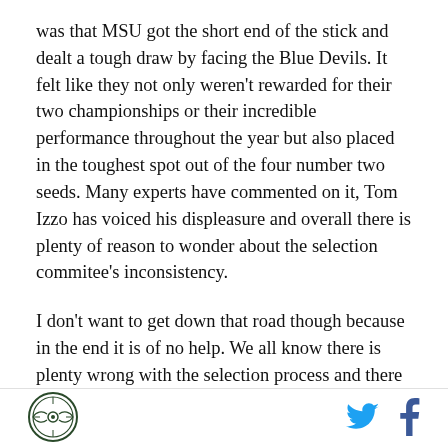was that MSU got the short end of the stick and dealt a tough draw by facing the Blue Devils. It felt like they not only weren't rewarded for their two championships or their incredible performance throughout the year but also placed in the toughest spot out of the four number two seeds. Many experts have commented on it, Tom Izzo has voiced his displeasure and overall there is plenty of reason to wonder about the selection commitee's inconsistency.
I don't want to get down that road though because in the end it is of no help. We all know there is plenty wrong with the selection process and there are factors away from the court that dictate a lot of stuff. Whoever
[Figure (logo): Circular logo with wings and targeting/scope design]
[Figure (logo): Twitter bird icon in cyan blue]
[Figure (logo): Facebook f icon in dark blue]